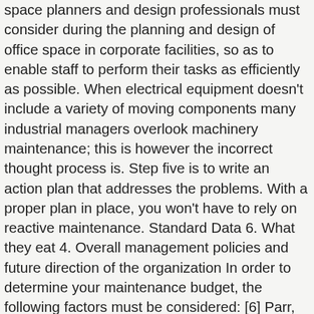space planners and design professionals must consider during the planning and design of office space in corporate facilities, so as to enable staff to perform their tasks as efficiently as possible. When electrical equipment doesn't include a variety of moving components many industrial managers overlook machinery maintenance; this is however the incorrect thought process is. Step five is to write an action plan that addresses the problems. With a proper plan in place, you won't have to rely on reactive maintenance. Standard Data 6. What they eat 4. Overall management policies and future direction of the organization In order to determine your maintenance budget, the following factors must be considered: [6] Parr, A.1991. It includes identifying all the resources and funding needed to develop and implement the maintenance plan. When planning a dinner party it's a good idea to know your guests preferences. When they eat 5. Delay Avoidance is the basic goal of Planning and Scheduling. Manufacturing maintenance tips: 5 Factors that affect maintainability. Elsevier Newnes, 373.